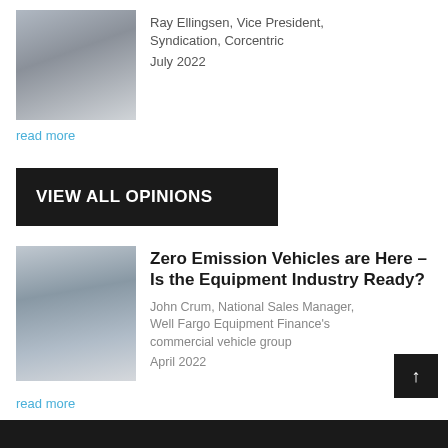[Figure (photo): Professional headshot of Ray Ellingsen in a dark suit]
Ray Ellingsen, Vice President, Syndication, Corcentric
July 2022
read more
VIEW ALL OPINIONS
[Figure (photo): Professional headshot of John Crum smiling in a dark suit with red tie]
Zero Emission Vehicles are Here – Is the Equipment Industry Ready?
John Crum, National Sales Manager, Well Fargo Equipment Finance's commercial vehicle group
April 2022
read more